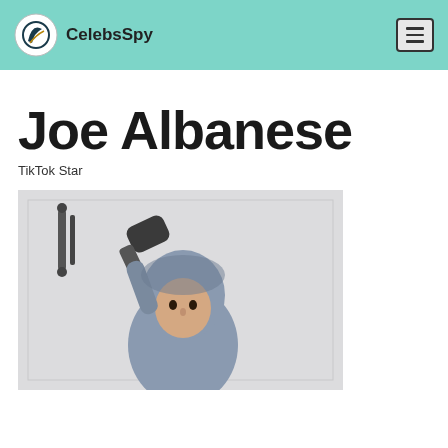CelebsSpy
Joe Albanese
TikTok Star
[Figure (photo): Young man wearing a grey hoodie with the hood up, raising a foot/sneaker near his face, in a martial arts or dance pose, photographed against a light grey/white wall background.]